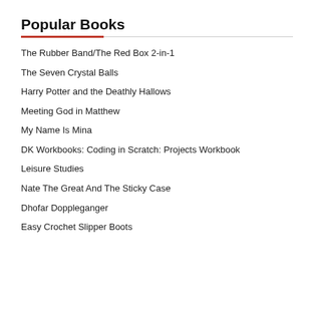Popular Books
The Rubber Band/The Red Box 2-in-1
The Seven Crystal Balls
Harry Potter and the Deathly Hallows
Meeting God in Matthew
My Name Is Mina
DK Workbooks: Coding in Scratch: Projects Workbook
Leisure Studies
Nate The Great And The Sticky Case
Dhofar Doppleganger
Easy Crochet Slipper Boots